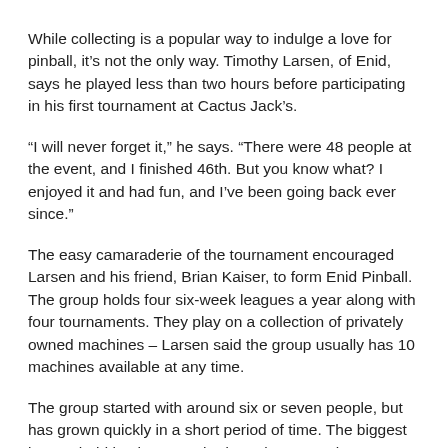While collecting is a popular way to indulge a love for pinball, it's not the only way. Timothy Larsen, of Enid, says he played less than two hours before participating in his first tournament at Cactus Jack's.
“I will never forget it,” he says. “There were 48 people at the event, and I finished 46th. But you know what? I enjoyed it and had fun, and I’ve been going back ever since.”
The easy camaraderie of the tournament encouraged Larsen and his friend, Brian Kaiser, to form Enid Pinball. The group holds four six-week leagues a year along with four tournaments. They play on a collection of privately owned machines – Larsen said the group usually has 10 machines available at any time.
The group started with around six or seven people, but has grown quickly in a short period of time. The biggest league held by the group had nearly 30 people participating, and Larsen says he has been pleasantly surprised by walk-ins that read about the tournaments on Facebook.